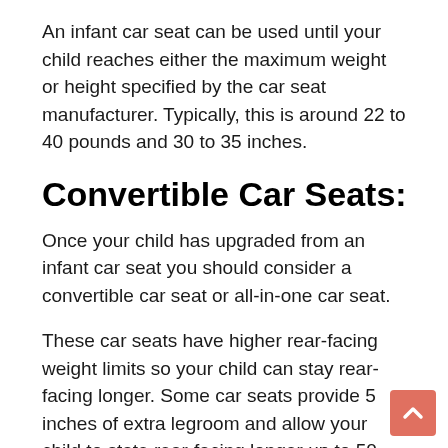An infant car seat can be used until your child reaches either the maximum weight or height specified by the car seat manufacturer. Typically, this is around 22 to 40 pounds and 30 to 35 inches.
Convertible Car Seats:
Once your child has upgraded from an infant car seat you should consider a convertible car seat or all-in-one car seat.
These car seats have higher rear-facing weight limits so your child can stay rear-facing longer. Some car seats provide 5 inches of extra legroom and allow your child to state rear-facing longer up to 50 pounds.